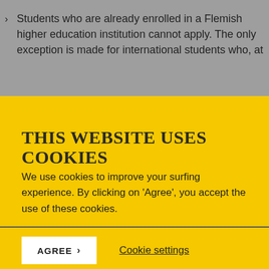Students who are already enrolled in a Flemish higher education institution cannot apply. The only exception is made for international students who, at
THIS WEBSITE USES COOKIES
We use cookies to improve your surfing experience. By clicking on 'Agree', you accept the use of these cookies.
AGREE ›   Cookie settings
…ee learning
Student mobility to partner institutions outside Flanders and Brussels during the master's programme is allowed. However, at least half of the